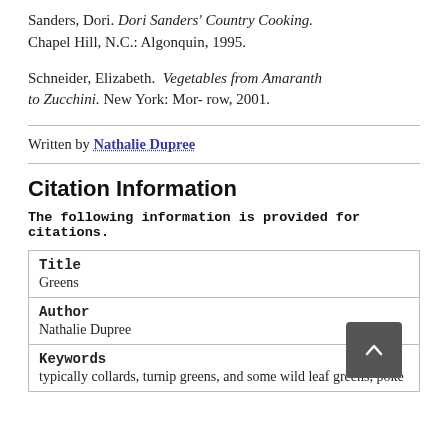Sanders, Dori. Dori Sanders' Country Cooking. Chapel Hill, N.C.: Algonquin, 1995.
Schneider, Elizabeth. Vegetables from Amaranth to Zucchini. New York: Mor- row, 2001.
Written by Nathalie Dupree
Citation Information
The following information is provided for citations.
| Field | Value |
| --- | --- |
| Title | Greens |
| Author | Nathalie Dupree |
| Keywords | typically collards, turnip greens, and some wild leaf greens, poke |